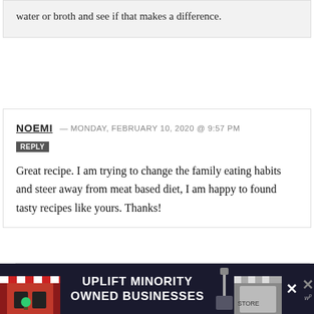water or broth and see if that makes a difference.
NOEMI — MONDAY, FEBRUARY 10, 2020 @ 9:57 PM
REPLY
Great recipe. I am trying to change the family eating habits and steer away from meat based diet, I am happy to found tasty recipes like yours. Thanks!
KARE — SATURDAY, FEBRUARY 29, 2020 @ 8:55
[Figure (infographic): Advertisement banner: UPLIFT MINORITY OWNED BUSINESSES with store awning graphics and close button]